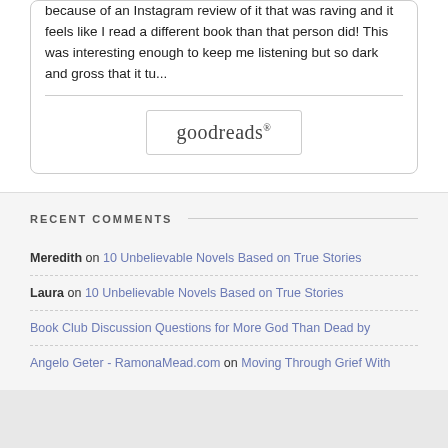because of an Instagram review of it that was raving and it feels like I read a different book than that person did! This was interesting enough to keep me listening but so dark and gross that it tu...
[Figure (logo): Goodreads logo in a rounded rectangle box]
RECENT COMMENTS
Meredith on 10 Unbelievable Novels Based on True Stories
Laura on 10 Unbelievable Novels Based on True Stories
Book Club Discussion Questions for More God Than Dead by
Angelo Geter - RamonaMead.com on Moving Through Grief With